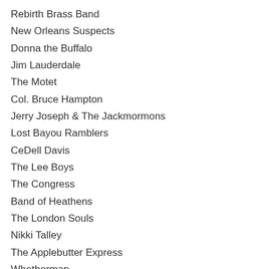Rebirth Brass Band
New Orleans Suspects
Donna the Buffalo
Jim Lauderdale
The Motet
Col. Bruce Hampton
Jerry Joseph & The Jackmormons
Lost Bayou Ramblers
CeDell Davis
The Lee Boys
The Congress
Band of Heathens
The London Souls
Nikki Talley
The Applebutter Express
Whetherman